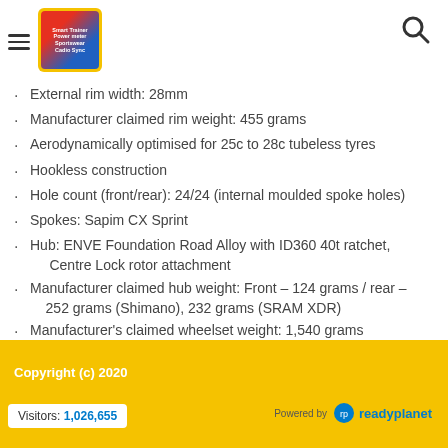Smart Trainer Power meter (logo) | Search icon
External rim width: 28mm
Manufacturer claimed rim weight: 455 grams
Aerodynamically optimised for 25c to 28c tubeless tyres
Hookless construction
Hole count (front/rear): 24/24 (internal moulded spoke holes)
Spokes: Sapim CX Sprint
Hub: ENVE Foundation Road Alloy with ID360 40t ratchet, Centre Lock rotor attachment
Manufacturer claimed hub weight: Front – 124 grams / rear – 252 grams (Shimano), 232 grams (SRAM XDR)
Manufacturer's claimed wheelset weight: 1,540 grams
Includes: Foundation Collection 45 Carbon Tubeless Disc Wheelset / wheel manual / wheelbuild card
Copyright (c) 2020 | Visitors: 1,026,655 | Powered by readyplanet